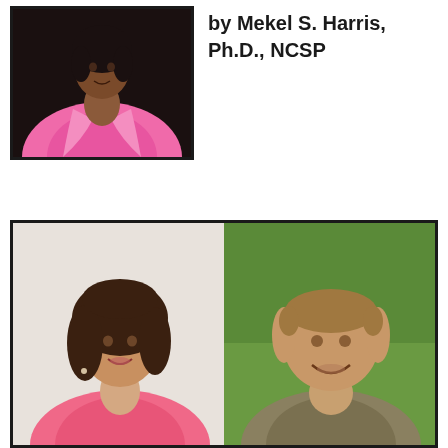[Figure (photo): Headshot photo of a person wearing a bright pink blazer/jacket, upper torso and shoulders visible, against a dark background]
by Mekel S. Harris, Ph.D., NCSP
[Figure (photo): Side-by-side photo of two people: on the left, a woman with dark brown shoulder-length hair, wearing pink, smiling; on the right, a middle-aged man with short hair smiling against a green background]